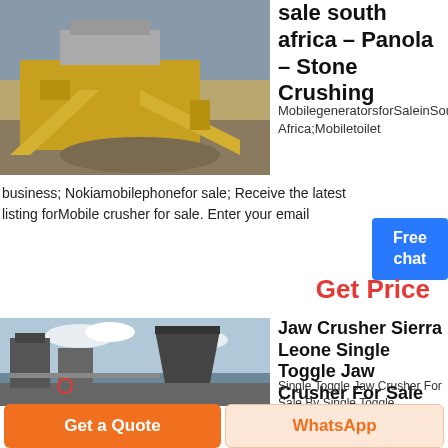[Figure (photo): Industrial stone crushing / mobile crusher equipment outdoors, yellow machinery]
sale south africa – Panola – Stone Crushing
MobilegeneratorsforSaleinSouth Africa;Mobiletoilet business; Nokiamobilephonefor sale; Receive the latest listings forMobile crusher for sale. Enter your email
Free chat
Get Price
[Figure (photo): Industrial jaw crusher equipment with silos and industrial machinery outdoors]
Jaw Crusher Sierra Leone Single Toggle Jaw Crusher For Sale
Single Toggle Jaw Crusher For Sale By Single Toggle
Get a Quote
WhatsApp